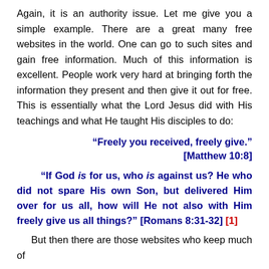Again, it is an authority issue. Let me give you a simple example. There are a great many free websites in the world. One can go to such sites and gain free information. Much of this information is excellent. People work very hard at bringing forth the information they present and then give it out for free. This is essentially what the Lord Jesus did with His teachings and what He taught His disciples to do:
“Freely you received, freely give.” [Matthew 10:8]
“If God is for us, who is against us? He who did not spare His own Son, but delivered Him over for us all, how will He not also with Him freely give us all things?” [Romans 8:31-32] [1]
But then there are those websites who keep much of